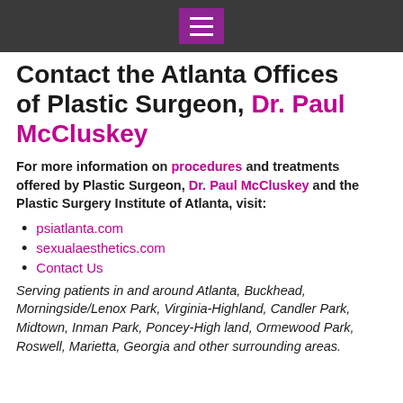[Navigation bar with hamburger menu]
Contact the Atlanta Offices of Plastic Surgeon, Dr. Paul McCluskey
For more information on procedures and treatments offered by Plastic Surgeon, Dr. Paul McCluskey and the Plastic Surgery Institute of Atlanta, visit:
psiatlanta.com
sexualaesthetics.com
Contact Us
Serving patients in and around Atlanta, Buckhead, Morningside/Lenox Park, Virginia-Highland, Candler Park, Midtown, Inman Park, Poncey-Highland, Ormewood Park, Roswell, Marietta, Georgia and other surrounding areas.